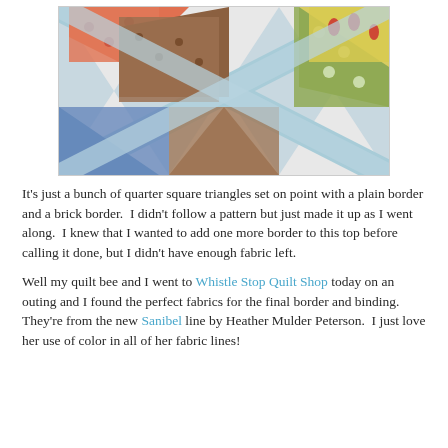[Figure (photo): Close-up photograph of a colorful patchwork quilt featuring quarter square triangles in various printed fabrics including orange, blue, green, brown, and floral patterns, with a light blue sashing/border.]
It's just a bunch of quarter square triangles set on point with a plain border and a brick border.  I didn't follow a pattern but just made it up as I went along.  I knew that I wanted to add one more border to this top before calling it done, but I didn't have enough fabric left.
Well my quilt bee and I went to Whistle Stop Quilt Shop today on an outing and I found the perfect fabrics for the final border and binding.  They're from the new Sanibel line by Heather Mulder Peterson.  I just love her use of color in all of her fabric lines!